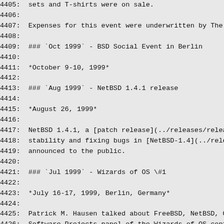4405:  sets and T-shirts were on sale.
4406:
4407:  Expenses for this event were underwritten by The N
4408:
4409:  ### `Oct 1999` - BSD Social Event in Berlin
4410:
4411:  *October 9-10, 1999*
4412:
4413:  ### `Aug 1999` - NetBSD 1.4.1 release
4414:
4415:  *August 26, 1999*
4416:
4417:  NetBSD 1.4.1, a [patch release](../releases/releas
4418:  stability and fixing bugs in [NetBSD-1.4](../relea
4419:  announced to the public.
4420:
4421:  ### `Jul 1999` - Wizards of OS \#1
4422:
4423:  *July 16-17, 1999, Berlin, Germany*
4424:
4425:  Patrick M. Hausen talked about FreeBSD, NetBSD, Op
4426:  Software Projects panel of the Wizards of OS confe
4427:
4428:  ### `Jun 1999` - LinuxTag '99
4429:
4430:  *June 26-27, 1999, Kaiserslautern, Germany*
4431:
4432:  [http://www.linuxtag.org/1999/](http://www.linuxta
4433:
4434:  The NetBSD Project attended LinuxTag '99 in Kaiser
4435:  exhibited a NetBSD/arm32 system running on a DNAPR